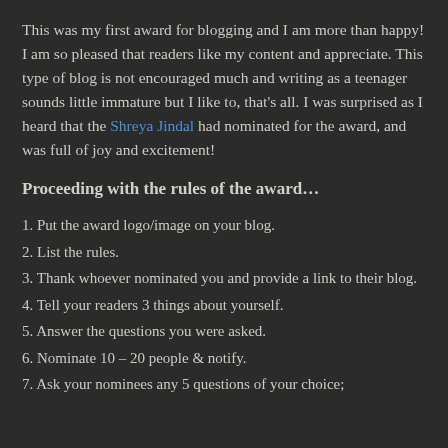This was my first award for blogging and I am more than happy! I am so pleased that readers like my content and appreciate. This type of blog is not encouraged much and writing as a teenager sounds little immature but I like to, that's all. I was surprised as I heard that the Shreya Jindal had nominated for the award, and was full of joy and excitement!
Proceeding with the rules of the award…
1. Put the award logo/image on your blog.
2. List the rules.
3. Thank whoever nominated you and provide a link to their blog.
4. Tell your readers 3 things about yourself.
5. Answer the questions you were asked.
6. Nominate 10 – 20 people & notify.
7. Ask your nominees any 5 questions of your choice;